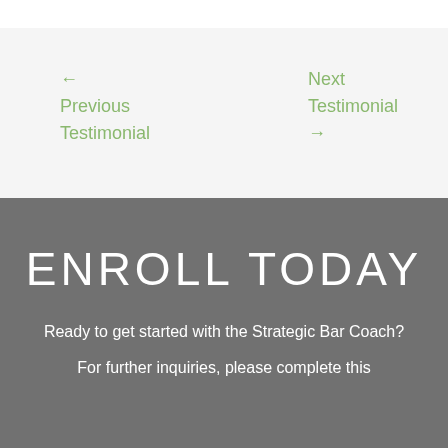← Previous Testimonial
Next Testimonial →
ENROLL TODAY
Ready to get started with the Strategic Bar Coach?
For further inquiries, please complete this